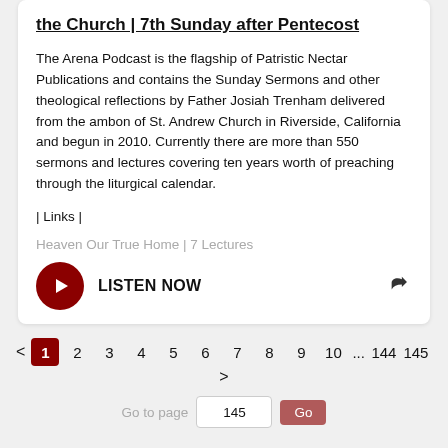the Church | 7th Sunday after Pentecost
The Arena Podcast is the flagship of Patristic Nectar Publications and contains the Sunday Sermons and other theological reflections by Father Josiah Trenham delivered from the ambon of St. Andrew Church in Riverside, California and begun in 2010. Currently there are more than 550 sermons and lectures covering ten years worth of preaching through the liturgical calendar.
| Links |
Heaven Our True Home | 7 Lectures
LISTEN NOW
< 1 2 3 4 5 6 7 8 9 10 ... 144 145 > | Go to page 145 Go